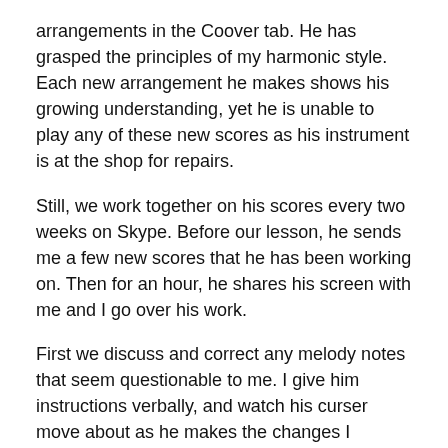arrangements in the Coover tab. He has grasped the principles of my harmonic style. Each new arrangement he makes shows his growing understanding, yet he is unable to play any of these new scores as his instrument is at the shop for repairs.
Still, we work together on his scores every two weeks on Skype. Before our lesson, he sends me a few new scores that he has been working on. Then for an hour, he shares his screen with me and I go over his work.
First we discuss and correct any melody notes that seem questionable to me. I give him instructions verbally, and watch his curser move about as he makes the changes I suggest. Then we tackle the chords.
Based on those improved chords, we adjust all the bellows direction markings and start figuring out his options for the (mostly) left handed accompaniment. There are many possible ways to get the melody, rhythm, chords, accompaniment buttons and bellows all working together. We work through these options and agree on the best way for him to get the job done. I play the tune this way and that until we both like the result. Then I tell him